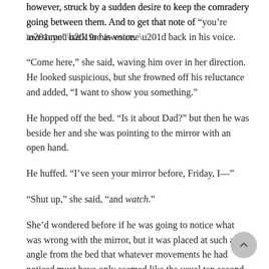however, struck by a sudden desire to keep the comradery going between them. And to get that note of “you’re awesome” back in his voice.
“Come here,” she said, waving him over in her direction. He looked suspicious, but she frowned off his reluctance and added, “I want to show you something.”
He hopped off the bed. “Is it about Dad?” but then he was beside her and she was pointing to the mirror with an open hand.
He huffed. “I’ve seen your mirror before, Friday, I—”
“Shut up,” she said, “and watch.”
She’d wondered before if he was going to notice what was wrong with the mirror, but it was placed at such an angle from the bed that whatever movements he had noticed must have only seemed like the usual ten second lag. He stood with consternation written on his face, staring at it.
Mirror-Tuesday got it ten seconds before he did. His reflection jumped back and Friday counted down to his real-time realization, smugly